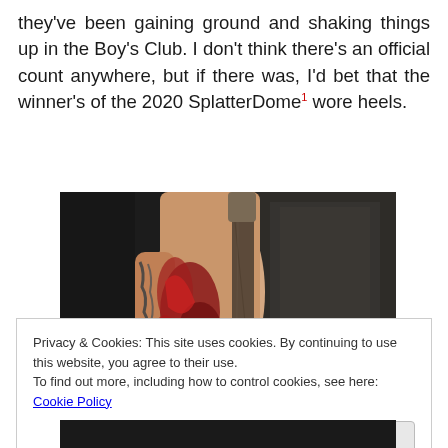they've been gaining ground and shaking things up in the Boy's Club. I don't think there's an official count anywhere, but if there was, I'd bet that the winner's of the 2020 SplatterDome¹ wore heels.
[Figure (photo): Close-up photo of a person's torso and arm with tattoos and what appears to be blood or red paint, holding a bat or rod, dark moody background]
Privacy & Cookies: This site uses cookies. By continuing to use this website, you agree to their use.
To find out more, including how to control cookies, see here: Cookie Policy